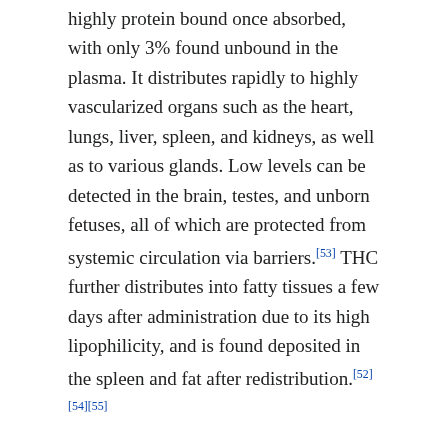highly protein bound once absorbed, with only 3% found unbound in the plasma. It distributes rapidly to highly vascularized organs such as the heart, lungs, liver, spleen, and kidneys, as well as to various glands. Low levels can be detected in the brain, testes, and unborn fetuses, all of which are protected from systemic circulation via barriers.[53] THC further distributes into fatty tissues a few days after administration due to its high lipophilicity, and is found deposited in the spleen and fat after redistribution.[52][54][55]
Metabolism
Delta-9-THC is the primary molecule responsible for the effects of cannabis. Delta-9-THC is metabolized in the liver and turns into 11-OH-THC.[56] 11-OH-THC is the fastest metabolized...Both Delta-9...